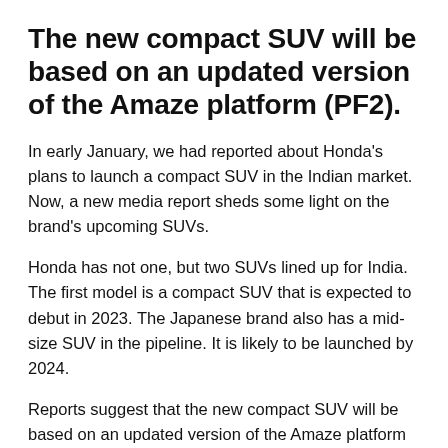The new compact SUV will be based on an updated version of the Amaze platform (PF2).
In early January, we had reported about Honda's plans to launch a compact SUV in the Indian market. Now, a new media report sheds some light on the brand's upcoming SUVs.
Honda has not one, but two SUVs lined up for India. The first model is a compact SUV that is expected to debut in 2023. The Japanese brand also has a mid-size SUV in the pipeline. It is likely to be launched by 2024.
Reports suggest that the new compact SUV will be based on an updated version of the Amaze platform (PF2). Codenamed: 3US, the design of the new model is almost ready and the engineering work is also ongoing.
It is said that the new model could be offered with the 1.2